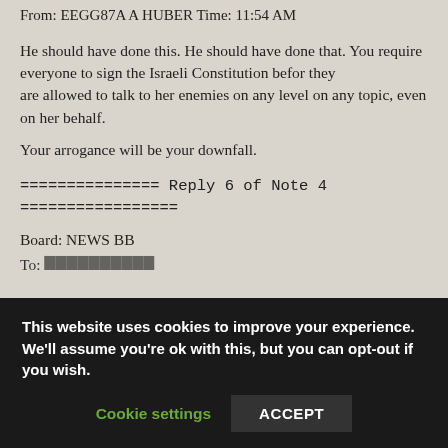From: EEGG87A A HUBER Time: 11:54 AM
He should have done this. He should have done that. You require everyone to sign the Israeli Constitution befor they are allowed to talk to her enemies on any level on any topic, even on her behalf.
Your arrogance will be your downfall.
=============== Reply 6 of Note 4 =================
Board: NEWS BB
To: [partially visible, cut off]
This website uses cookies to improve your experience. We'll assume you're ok with this, but you can opt-out if you wish.
Cookie settings   ACCEPT